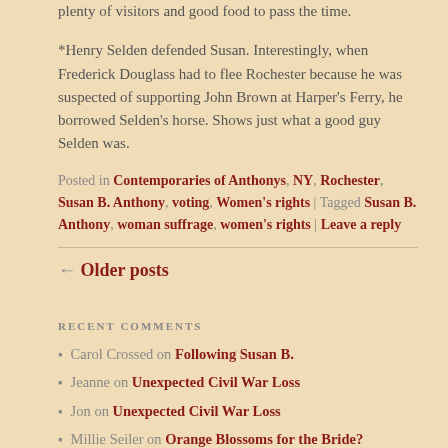plenty of visitors and good food to pass the time.
*Henry Selden defended Susan. Interestingly, when Frederick Douglass had to flee Rochester because he was suspected of supporting John Brown at Harper's Ferry, he borrowed Selden's horse. Shows just what a good guy Selden was.
Posted in Contemporaries of Anthonys, NY, Rochester, Susan B. Anthony, voting, Women's rights | Tagged Susan B. Anthony, woman suffrage, women's rights | Leave a reply
← Older posts
RECENT COMMENTS
Carol Crossed on Following Susan B.
Jeanne on Unexpected Civil War Loss
Jon on Unexpected Civil War Loss
Millie Seiler on Orange Blossoms for the Bride?